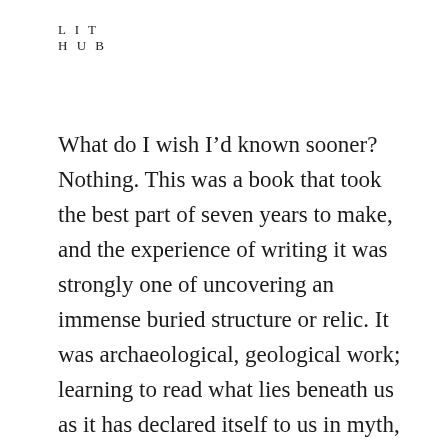LIT
HUB
What do I wish I’d known sooner? Nothing. This was a book that took the best part of seven years to make, and the experience of writing it was strongly one of uncovering an immense buried structure or relic. It was archaeological, geological work; learning to read what lies beneath us as it has declared itself to us in myth, metaphor and memory. Each